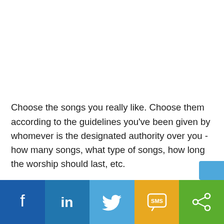Choose the songs you really like. Choose them according to the guidelines you've been given by whomever is the designated authority over you - how many songs, what type of songs, how long the worship should last, etc.
[Figure (infographic): Social share bar with Facebook, LinkedIn, Twitter, SMS, and Share buttons in colored panels (blue, dark blue, light blue, yellow/gold, green)]